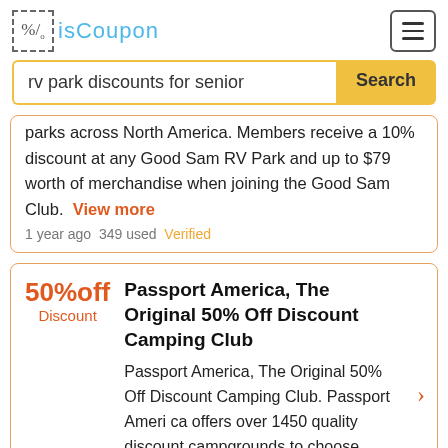isCoupon
rv park discounts for senior
parks across North America. Members receive a 10% discount at any Good Sam RV Park and up to $79 worth of merchandise when joining the Good Sam Club. View more
1 year ago  349 used  Verified
50%off Discount
Passport America, The Original 50% Off Discount Camping Club
Passport America, The Original 50% Off Discount Camping Club. Passport Ameri ca offers over 1450 quality discount campgrounds to choose from. View more